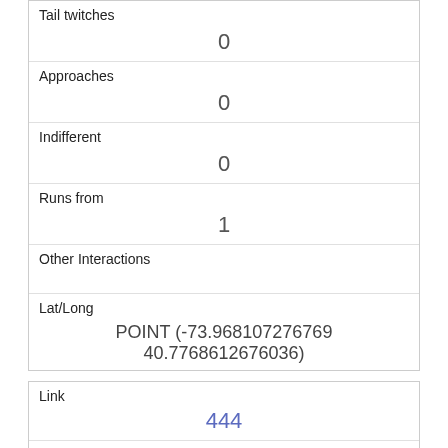| Tail twitches | 0 |
| Approaches | 0 |
| Indifferent | 0 |
| Runs from | 1 |
| Other Interactions |  |
| Lat/Long | POINT (-73.968107276769 40.7768612676036) |
| Link | 444 |
| rowid | 444 |
| longitude | -73.96414623605409 |
| latitude | 40.7778316005464 |